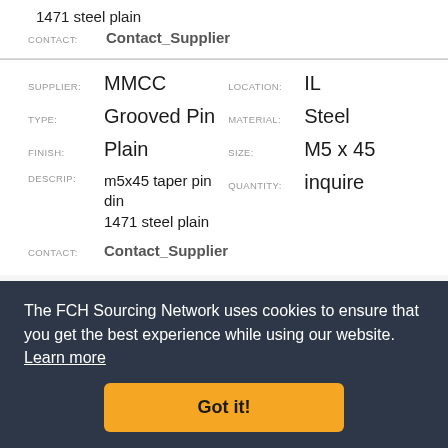1471 steel plain
CONTACT: Contact_Supplier
SUPPLIER: MMCC   LOCATION: IL   TYPE: Grooved Pin   MATERIAL: Steel   FINISH: Plain   SIZE: M5 x 45   DESCRIP: m5x45 taper pin din 1471 steel plain   QUANTITY: inquire
CONTACT: Contact_Supplier
The FCH Sourcing Network uses cookies to ensure that you get the best experience while using our website. Learn more
Got it!
1471 steel plain